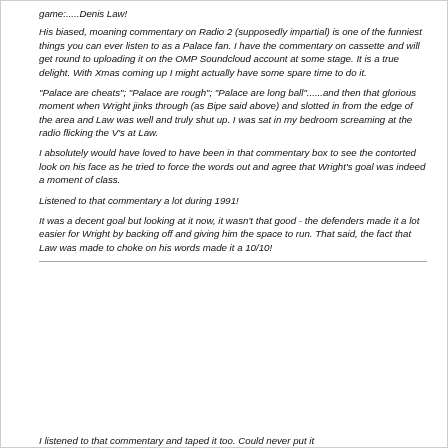game:.....Denis Law!
His biased, moaning commentary on Radio 2 (supposedly impartial) is one of the funniest things you can ever listen to as a Palace fan. I have the commentary on cassette and will get round to uploading it on the OMP Soundcloud account at some stage. It is a true delight. With Xmas coming up I might actually have some spare time to do it.
"Palace are cheats"; "Palace are rough"; "Palace are long ball"......and then that glorious moment when Wright jinks through (as Bipe said above) and slotted in from the edge of the area and Law was well and truly shut up. I was sat in my bedroom screaming at the radio flicking the V's at Law.
I absolutely would have loved to have been in that commentary box to see the contorted look on his face as he tried to force the words out and agree that Wright's goal was indeed a moment of class.
Listened to that commentary a lot during 1991!
It was a decent goal but looking at it now, it wasn't that good - the defenders made it a lot easier for Wright by backing off and giving him the space to run. That said, the fact that Law was made to choke on his words made it a 10/10!
I listened to that commentary and taped it too. Could never put it